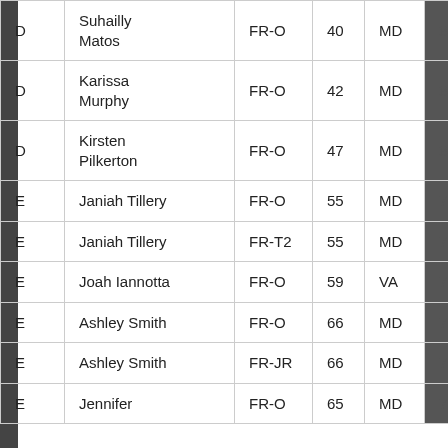| D | Suhailly Matos | FR-O | 40 | MD | 84 |
| D | Karissa Murphy | FR-O | 42 | MD | 84 |
| D | Kirsten Pilkerton | FR-O | 47 | MD | 84 |
| E | Janiah Tillery | FR-O | 55 | MD | 72 |
| E | Janiah Tillery | FR-T2 | 55 | MD | 72 |
| E | Joah Iannotta | FR-O | 59 | VA | 72 |
| E | Ashley Smith | FR-O | 66 | MD | 72 |
| E | Ashley Smith | FR-JR | 66 | MD | 72 |
| E | Jennifer | FR-O | 65 | MD | 72 |